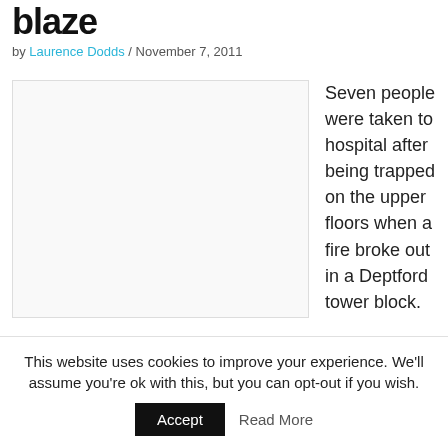blaze
by Laurence Dodds / November 7, 2011
[Figure (photo): A photograph placeholder — light gray box representing an image of a tower block fire in Deptford.]
Seven people were taken to hospital after being trapped on the upper floors when a fire broke out in a Deptford tower block. Fire crews in breathing…
This website uses cookies to improve your experience. We'll assume you're ok with this, but you can opt-out if you wish. Accept  Read More